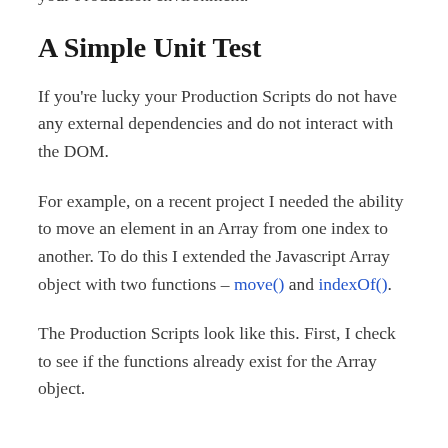should be identical to whatever gets deployed in your Production environment.
A Simple Unit Test
If you're lucky your Production Scripts do not have any external dependencies and do not interact with the DOM.
For example, on a recent project I needed the ability to move an element in an Array from one index to another. To do this I extended the Javascript Array object with two functions – move() and indexOf().
The Production Scripts look like this. First, I check to see if the functions already exist for the Array object. If they don't, I assign them.